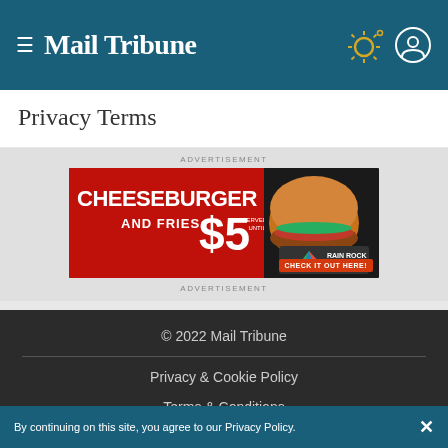Mail Tribune
Privacy Terms
ADVERTISEMENT
[Figure (photo): Advertisement banner for Rain Rock Casino: Cheeseburger and Fries $5 served daily until 9PM. Check it out here!]
ADVERTISEMENT
© 2022 Mail Tribune
Privacy & Cookie Policy
Terms & Conditions
Copyright Notice
About Us
By continuing on this site, you agree to our Privacy Policy.